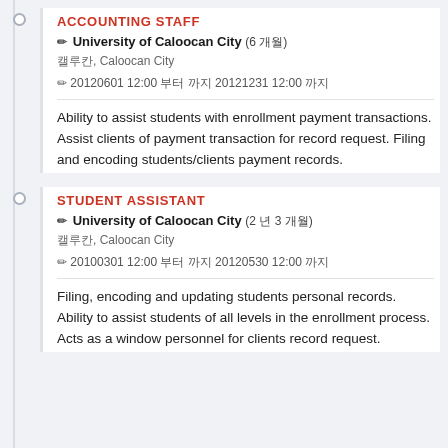ACCOUNTING STAFF
✎ University of Caloocan City (6 개월)
캘루칸, Caloocan City
✎ 20120601 12:00 부터 까지 20121231 12:00 까지
Ability to assist students with enrollment payment transactions. Assist clients of payment transaction for record request. Filing and encoding students/clients payment records.
STUDENT ASSISTANT
✎ University of Caloocan City (2 년 3 개월)
캘루칸, Caloocan City
✎ 20100301 12:00 부터 까지 20120530 12:00 까지
Filing, encoding and updating students personal records. Ability to assist students of all levels in the enrollment process. Acts as a window personnel for clients record request.